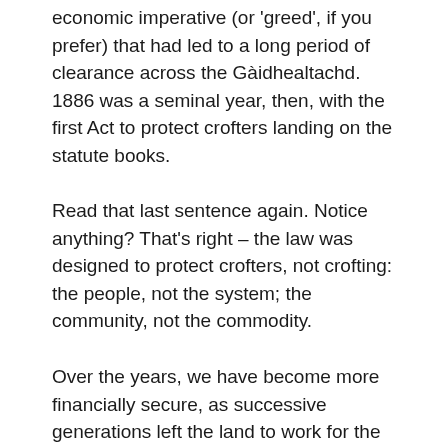economic imperative (or 'greed', if you prefer) that had led to a long period of clearance across the Gàidhealtachd. 1886 was a seminal year, then, with the first Act to protect crofters landing on the statute books.
Read that last sentence again. Notice anything? That's right – the law was designed to protect crofters, not crofting: the people, not the system; the community, not the commodity.
Over the years, we have become more financially secure, as successive generations left the land to work for the man. Yet, some people continued to work their crofts, until the excesses of headage payments saw everyone packing the acres with sheep and cattle. When I was growing up in the nineteen eighties, the CAP had made